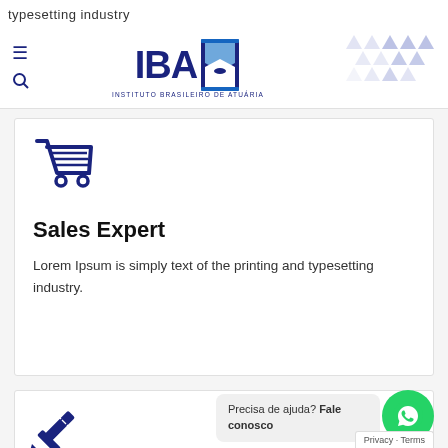typesetting industry
[Figure (logo): IBA - Instituto Brasileiro de Atuária logo with hourglass icon and triangular pattern decoration]
Sales Expert
Lorem Ipsum is simply text of the printing and typesetting industry.
[Figure (illustration): Pencil and ruler crossed icon in dark blue]
Precisa de ajuda? Fale conosco
[Figure (illustration): WhatsApp green circle icon]
Privacy · Terms